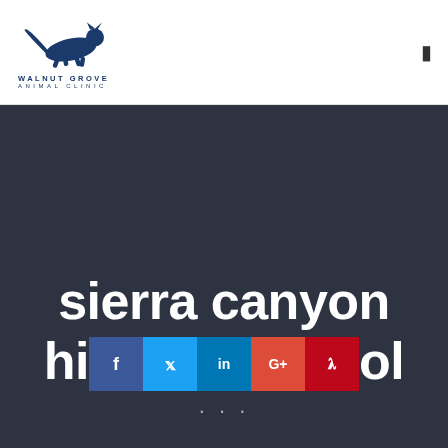[Figure (logo): Walnut Grove Animal Clinic logo with running animal silhouette and text WALNUT GROVE ANIMAL CLINIC]
sierra canyon high school
[Figure (infographic): Social media share buttons: Facebook, Twitter, LinkedIn, Google+, Pinterest]